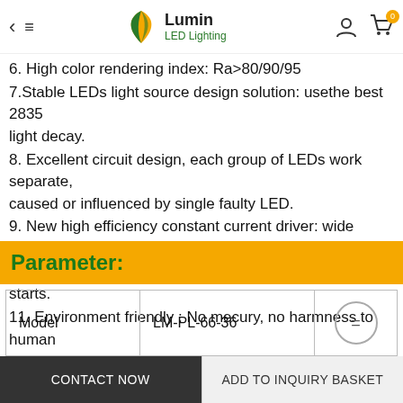Lumin LED Lighting — navigation bar with back, menu, logo, user, cart icons
6. High color rendering index:  Ra>80/90/95
7.Stable LEDs light source design solution: usethe best 2835 light decay.
8. Excellent circuit design, each group of LEDs work separately, caused or influenced by single faulty LED.
9. New high efficiency constant current driver: wide range of
10. Instant starting time: < 1.2 s, and no noise as it starts.
11. Environment friendly : No mecury, no harmness to human
Parameter:
| Model |  |  |
| --- | --- | --- |
| Model | LM-PL-66-36 |  |
| Power | 40W | Lumen |
CONTACT NOW | ADD TO INQUIRY BASKET